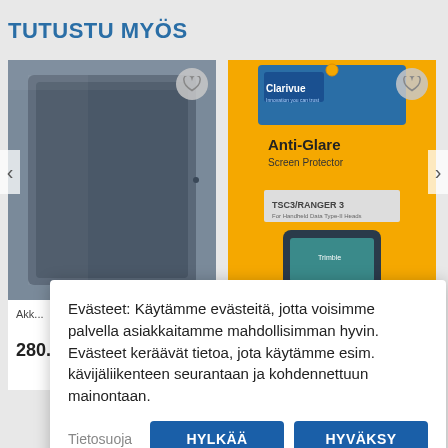TUTUSTU MYÖS
[Figure (photo): Two product cards: left shows a dark grey tablet/device back, right shows a yellow packaged Clarivue Anti-Glare Screen Protector for TSC3/RANGER 3]
Evästeet: Käytämme evästeitä, jotta voisimme palvella asiakkaitamme mahdollisimman hyvin. Evästeet keräävät tietoa, jota käytämme esim. kävijäliikenteen seurantaan ja kohdennettuun mainontaan.
Tietosuoja
HYLKÄÄ
HYVÄKSY
Privacy · Terms